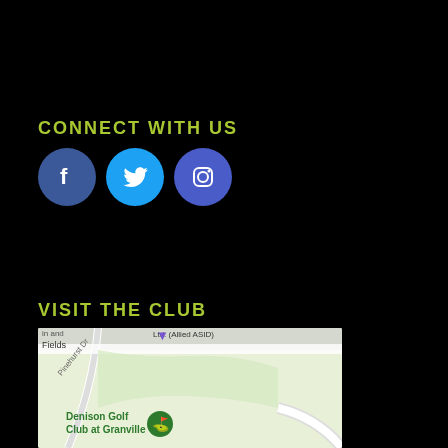CONNECT WITH US
[Figure (infographic): Three social media icons: Facebook (dark blue circle with 'f'), Twitter (light blue circle with bird), Instagram (blue-purple circle with camera outline)]
VISIT THE CLUB
[Figure (map): Google Maps snippet showing Denison Golf Club at Granville, with Pinehurst Dr visible, Ltd. (Allied ASID) label, and golf club marker icon]